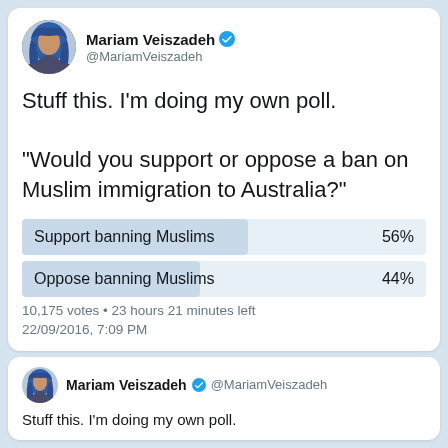[Figure (screenshot): Twitter/X profile avatar of Mariam Veiszadeh wearing a blue hijab]
Mariam Veiszadeh @MariamVeiszadeh
Stuff this. I'm doing my own poll.
"Would you support or oppose a ban on Muslim immigration to Australia?"
| Option | Percentage |
| --- | --- |
| Support banning Muslims | 56% |
| Oppose banning Muslims | 44% |
10,175 votes • 23 hours 21 minutes left
22/09/2016, 7:09 PM
[Figure (screenshot): Twitter/X profile avatar of Mariam Veiszadeh wearing a blue hijab (smaller)]
Mariam Veiszadeh @MariamVeiszadeh
Stuff this. I'm doing my own poll.